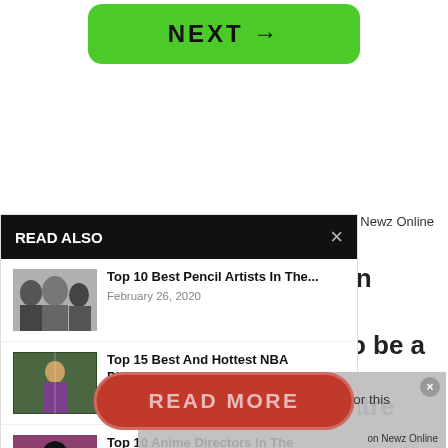[Figure (screenshot): Green NEXT button with arrow]
on Newz Online
[Figure (screenshot): READ ALSO panel with three article thumbnails and titles: Top 10 Best Pencil Artists In The... (Feb 26, 2020), Top 15 Best And Hottest NBA Players... (Dec 28, 2021), Top 10 Anime Directors In The]
I have been doing this
did I like to be a
direct theatre and
t needed to do. You
ctress and a director
rce of production
[Figure (screenshot): Video overlay with message: No compatible source was found for this media. X watermark and Sylv text visible.]
[Figure (screenshot): READ MORE button in red rounded pill shape]
on Newz Online